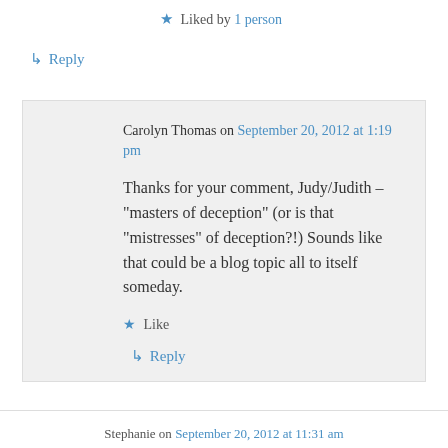★ Liked by 1 person
↪ Reply
Carolyn Thomas on September 20, 2012 at 1:19 pm
Thanks for your comment, Judy/Judith – "masters of deception" (or is that "mistresses" of deception?!) Sounds like that could be a blog topic all to itself someday.
★ Like
↪ Reply
Stephanie on September 20, 2012 at 11:31 am